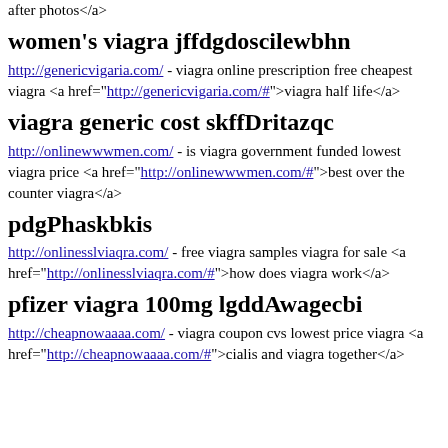after photos</a>
women's viagra jffdgdoscilewbhn
http://genericvigaria.com/ - viagra online prescription free cheapest viagra <a href="http://genericvigaria.com/#">viagra half life</a>
viagra generic cost skffDritazqc
http://onlinewwwmen.com/ - is viagra government funded lowest viagra price <a href="http://onlinewwwmen.com/#">best over the counter viagra</a>
pdgPhaskbkis
http://onlinesslviaqra.com/ - free viagra samples viagra for sale <a href="http://onlinesslviaqra.com/#">how does viagra work</a>
pfizer viagra 100mg lgddAwagecbi
http://cheapnowaaaa.com/ - viagra coupon cvs lowest price viagra <a href="http://cheapnowaaaa.com/#">cialis and viagra together</a>